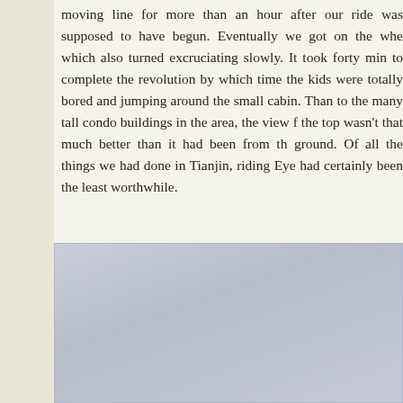moving line for more than an hour after our ride was supposed to have begun. Eventually we got on the whe which also turned excruciating slowly. It took forty min to complete the revolution by which time the kids were totally bored and jumping around the small cabin. Than to the many tall condo buildings in the area, the view f the top wasn't that much better than it had been from th ground. Of all the things we had done in Tianjin, riding Eye had certainly been the least worthwhile.
[Figure (photo): A photograph or image with a blue-grey toned appearance, partially visible, cut off at the right edge of the page.]